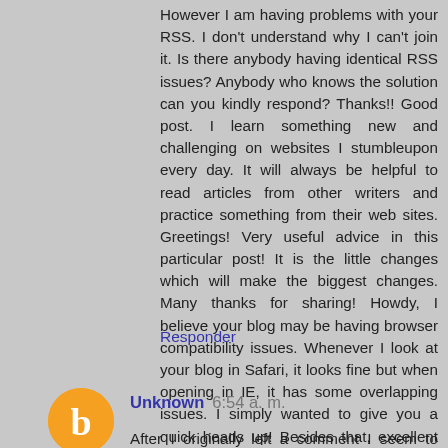However I am having problems with your RSS. I don't understand why I can't join it. Is there anybody having identical RSS issues? Anybody who knows the solution can you kindly respond? Thanks!! Good post. I learn something new and challenging on websites I stumbleupon every day. It will always be helpful to read articles from other writers and practice something from their web sites. Greetings! Very useful advice in this particular post! It is the little changes which will make the biggest changes. Many thanks for sharing! Howdy, I believe your blog may be having browser compatibility issues. Whenever I look at your blog in Safari, it looks fine but when opening in IE, it has some overlapping issues. I simply wanted to give you a quick heads up! Besides that, excellent blog! สล็อต
Responder
Unknown 6:54 a. m.
After I originally left a comment I seem to have clicked on the -Notify me when new comments are added-